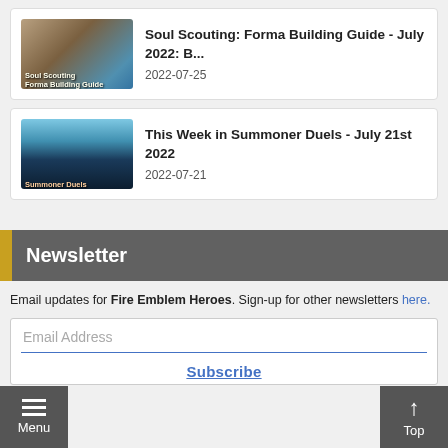[Figure (screenshot): Soul Scouting game card thumbnail with characters]
Soul Scouting: Forma Building Guide - July 2022: B...
2022-07-25
[Figure (screenshot): Summoner Duels game card thumbnail with silhouette characters]
This Week in Summoner Duels - July 21st 2022
2022-07-21
Newsletter
Email updates for Fire Emblem Heroes. Sign-up for other newsletters here.
Email Address
Subscribe